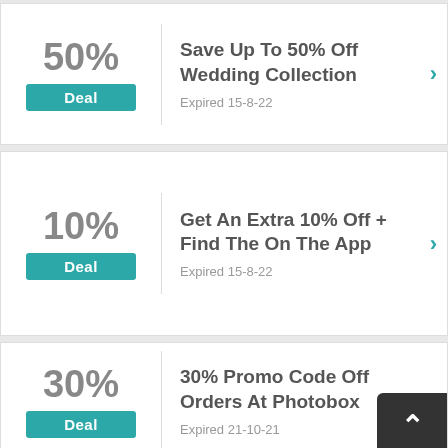50% Deal | Save Up To 50% Off Wedding Collection | Expired 15-8-22
10% Deal | Get An Extra 10% Off + Find The On The App | Expired 15-8-22
30% Deal | 30% Promo Code Off Orders At Photobox | Expired 21-10-21